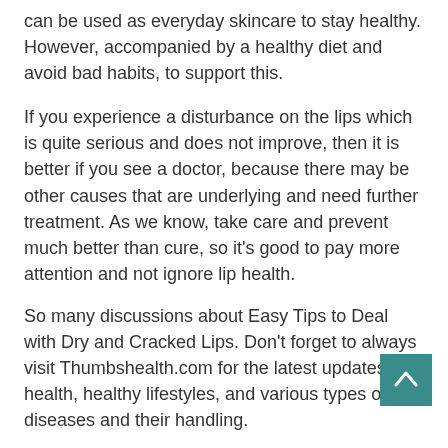can be used as everyday skincare to stay healthy. However, accompanied by a healthy diet and avoid bad habits, to support this.
If you experience a disturbance on the lips which is quite serious and does not improve, then it is better if you see a doctor, because there may be other causes that are underlying and need further treatment. As we know, take care and prevent much better than cure, so it's good to pay more attention and not ignore lip health.
So many discussions about Easy Tips to Deal with Dry and Cracked Lips. Don't forget to always visit Thumbshealth.com for the latest updates on health, healthy lifestyles, and various types of diseases and their handling.
Share :